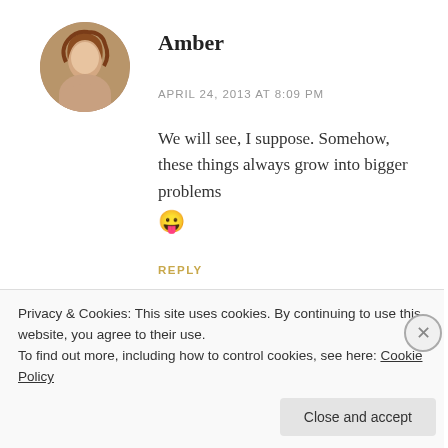[Figure (photo): Circular avatar photo of a young woman with curly hair]
Amber
APRIL 24, 2013 AT 8:09 PM
We will see, I suppose. Somehow, these things always grow into bigger problems 😛
REPLY
[Figure (photo): Partial circular avatar of next commenter]
Privacy & Cookies: This site uses cookies. By continuing to use this website, you agree to their use.
To find out more, including how to control cookies, see here: Cookie Policy